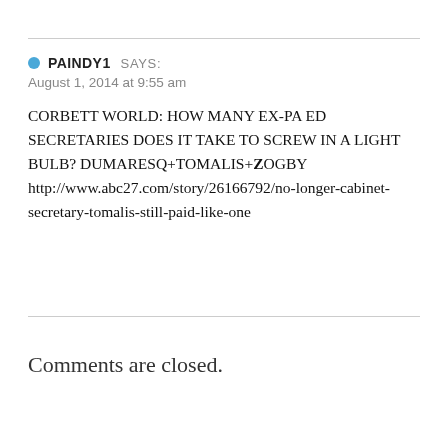PAINDY1 SAYS:
August 1, 2014 at 9:55 am

CORBETT WORLD: HOW MANY EX-PA ED SECRETARIES DOES IT TAKE TO SCREW IN A LIGHT BULB? DUMARESQ+TOMALIS+ZOGBY http://www.abc27.com/story/26166792/no-longer-cabinet-secretary-tomalis-still-paid-like-one
Comments are closed.